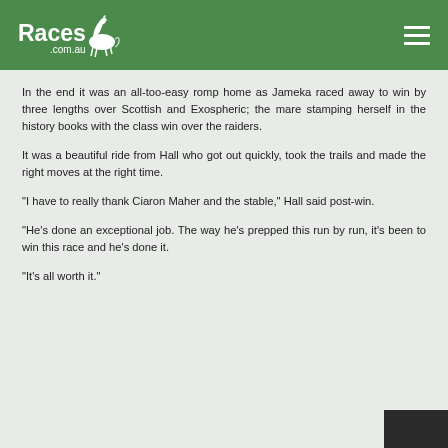Races.com.au
In the end it was an all-too-easy romp home as Jameka raced away to win by three lengths over Scottish and Exospheric; the mare stamping herself in the history books with the class win over the raiders.
It was a beautiful ride from Hall who got out quickly, took the trails and made the right moves at the right time.
“I have to really thank Ciaron Maher and the stable,” Hall said post-win.
“He’s done an exceptional job. The way he’s prepped this run by run, it’s been to win this race and he’s done it.
“It’s all worth it.”